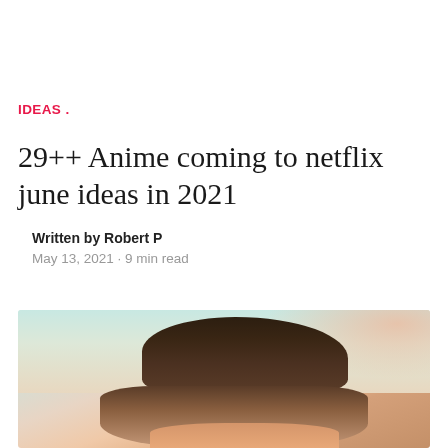IDEAS .
29++ Anime coming to netflix june ideas in 2021
Written by Robert P
May 13, 2021 · 9 min read
[Figure (photo): Photo of an anime character or person with dark brown hair against a warm, pastel-toned outdoor sky background. Only the top of the head and hair is visible, cropped near the bottom of the image.]